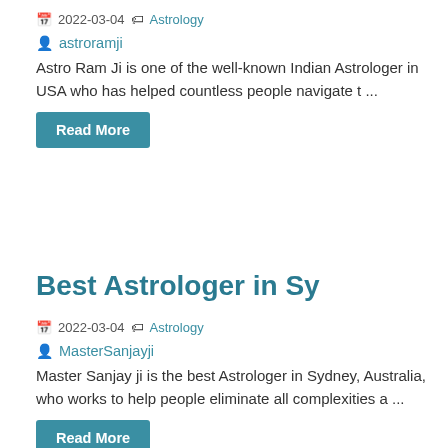📅 2022-03-04 🏷 Astrology
👤 astroramji
Astro Ram Ji is one of the well-known Indian Astrologer in USA who has helped countless people navigate t ...
Read More
Best Astrologer in Sy
📅 2022-03-04 🏷 Astrology
👤 MasterSanjayji
Master Sanjay ji is the best Astrologer in Sydney, Australia, who works to help people eliminate all complexities a ...
Read More